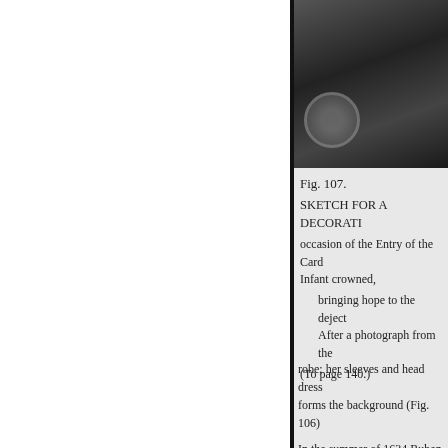[Figure (photo): Black and white photograph fragment showing architectural decorative detail with figures, partially visible at top right of page]
Fig. 107.
SKETCH FOR A DECORATI[ON for the] occasion of the Entry of the Car[dinal-] Infant crowned,

bringing hope to the deject[ed…]
After a photograph from the[…]

(To page 140.)
robe; her sleeves and head dress [… ] forms the background (Fig. 106)[.]
In the summer of 1634 Ruben[s …] Whitehall. Spaniards, French an[d …] however not despatched to Engla[nd …]